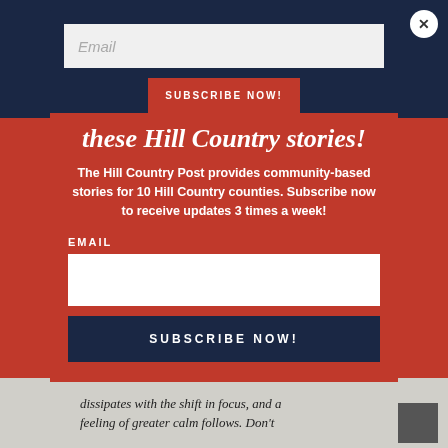Email
SUBSCRIBE NOW!
these Hill Country stories!
The Hill Country Post provides community-based stories for 10 Hill Country counties. Subscribe now to receive updates 3 times a week!
EMAIL
SUBSCRIBE NOW!
dissipates with the shift in focus, and a feeling of greater calm follows. Don't